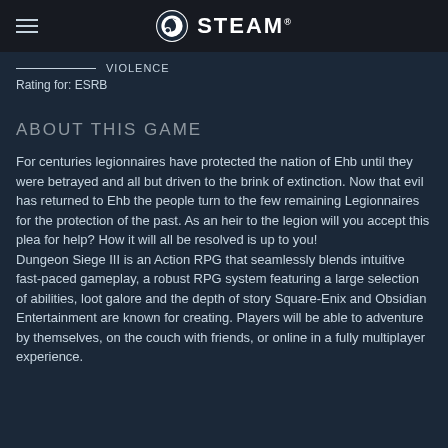STEAM
VIOLENCE
Rating for: ESRB
ABOUT THIS GAME
For centuries legionnaires have protected the nation of Ehb until they were betrayed and all but driven to the brink of extinction. Now that evil has returned to Ehb the people turn to the few remaining Legionnaires for the protection of the past. As an heir to the legion will you accept this plea for help? How it will all be resolved is up to you! Dungeon Siege III is an Action RPG that seamlessly blends intuitive fast-paced gameplay, a robust RPG system featuring a large selection of abilities, loot galore and the depth of story Square-Enix and Obsidian Entertainment are known for creating. Players will be able to adventure by themselves, on the couch with friends, or online in a fully multiplayer experience.